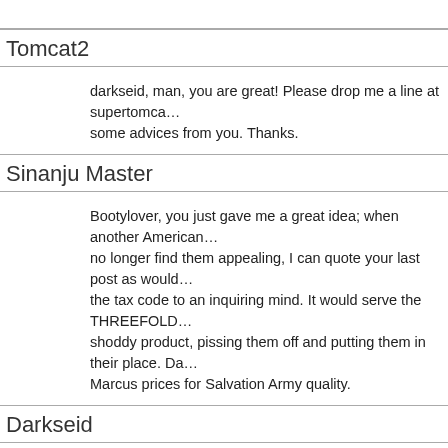Tomcat2
darkseid, man, you are great! Please drop me a line at supertomca... some advices from you. Thanks.
Sinanju Master
Bootylover, you just gave me a great idea; when another American... no longer find them appealing, I can quote your last post as would... the tax code to an inquiring mind. It would serve the THREEFOLD... shoddy product, pissing them off and putting them in their place. Da... Marcus prices for Salvation Army quality.
Darkseid
i love that idea bootylover. it is very practical. i also think there shou... out there in america. unfortunately, most american men are wimps... feelings up instead of expressing them to these bad american wom... [url=http://isqprohibitedwords.info?CodeWord=CodeWord125][Co...